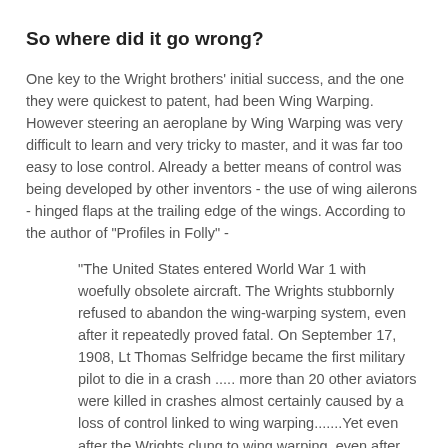So where did it go wrong?
One key to the Wright brothers' initial success, and the one they were quickest to patent, had been Wing Warping. However steering an aeroplane by Wing Warping was very difficult to learn and very tricky to master, and it was far too easy to lose control. Already a better means of control was being developed by other inventors - the use of wing ailerons - hinged flaps at the trailing edge of the wings. According to the author of "Profiles in Folly" -
"The United States entered World War 1 with woefully obsolete aircraft. The Wrights stubbornly refused to abandon the wing-warping system, even after it repeatedly proved fatal. On September 17, 1908, Lt Thomas Selfridge became the first military pilot to die in a crash ..... more than 20 other aviators were killed in crashes almost certainly caused by a loss of control linked to wing warping.......Yet even after the Wrights clung to wing warping, even after